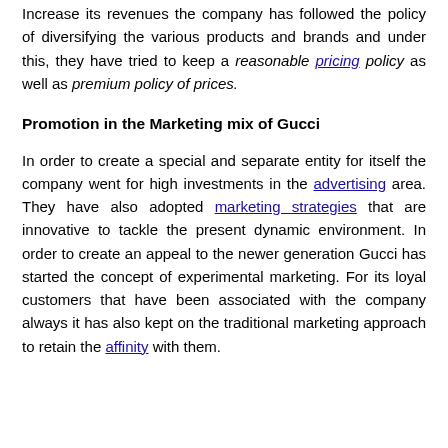Increase its revenues the company has followed the policy of diversifying the various products and brands and under this, they have tried to keep a reasonable pricing policy as well as premium policy of prices.
Promotion in the Marketing mix of Gucci
In order to create a special and separate entity for itself the company went for high investments in the advertising area. They have also adopted marketing strategies that are innovative to tackle the present dynamic environment. In order to create an appeal to the newer generation Gucci has started the concept of experimental marketing. For its loyal customers that have been associated with the company always it has also kept on the traditional marketing approach to retain the affinity with them.